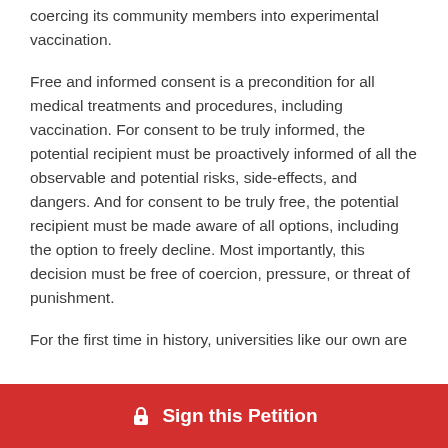coercing its community members into experimental vaccination.
Free and informed consent is a precondition for all medical treatments and procedures, including vaccination. For consent to be truly informed, the potential recipient must be proactively informed of all the observable and potential risks, side-effects, and dangers. And for consent to be truly free, the potential recipient must be made aware of all options, including the option to freely decline. Most importantly, this decision must be free of coercion, pressure, or threat of punishment.
For the first time in history, universities like our own are
Sign this Petition